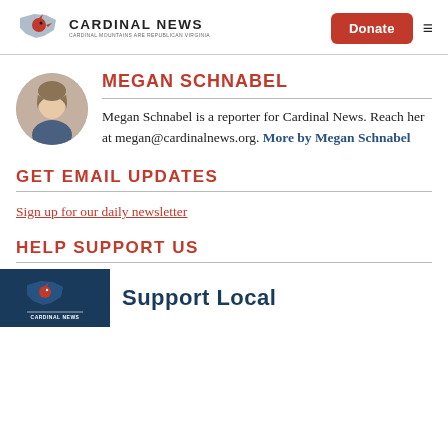CARDINAL NEWS
MEGAN SCHNABEL
Megan Schnabel is a reporter for Cardinal News. Reach her at megan@cardinalnews.org. More by Megan Schnabel
GET EMAIL UPDATES
Sign up for our daily newsletter
HELP SUPPORT US
Support Local